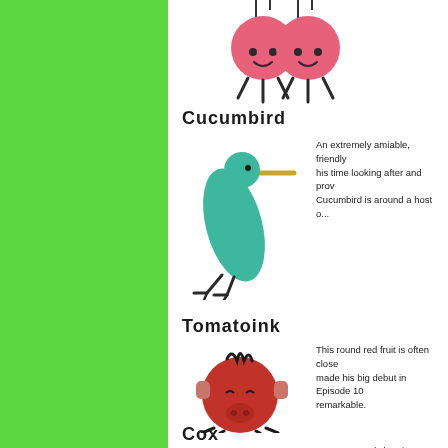[Figure (illustration): Two pink round cherry-like creatures with faces hanging from strings, partially visible at top of page]
Cucumbird
[Figure (illustration): A cartoon cucumber shaped like a bird with a beak and legs, teal/green colored]
An extremely amiable, friendly... his time looking after and pro... Cucumbird is around a host o...
Tomatoink
[Figure (illustration): A round red tomato with a pig face, dark spiky hair on top, and small legs — cartoon style]
This round red fruit is often close... made his big debut in Episode 10... remarkable.
Cox
Jumps around shouting "Co...